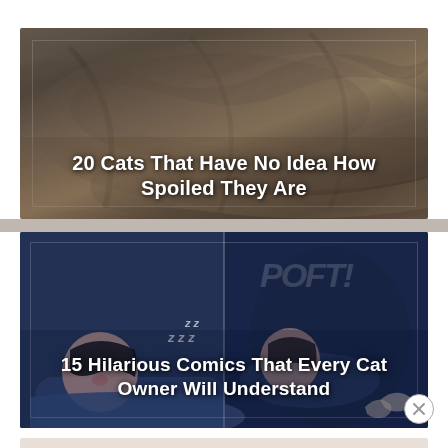[Figure (photo): Photo of a tabby cat lying in a bowl-shaped cat bed, viewed from above. The cat fills the entire frame. White bold text overlay reads '20 Cats That Have No Idea How Spoiled They Are'.]
[Figure (illustration): Comic-style illustration in two panels showing a person sleeping in bed while a cat disturbs them. Blue-toned nighttime scene. Bold white text overlay reads '15 Hilarious Comics That Every Cat Owner Will Understand'.]